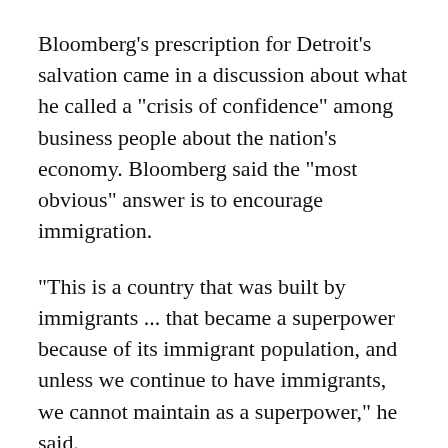Bloomberg's prescription for Detroit's salvation came in a discussion about what he called a "crisis of confidence" among business people about the nation's economy. Bloomberg said the "most obvious" answer is to encourage immigration.
"This is a country that was built by immigrants ... that became a superpower because of its immigrant population, and unless we continue to have immigrants, we cannot maintain as a superpower," he said.
"Take a look at the big, old, industrial cities, Detroit, for example," he said. "They've got a great mayor, Mayor (Dave) Bing, but the population has left. You've got to do something about that. And if I were the federal government, assuming you could away a